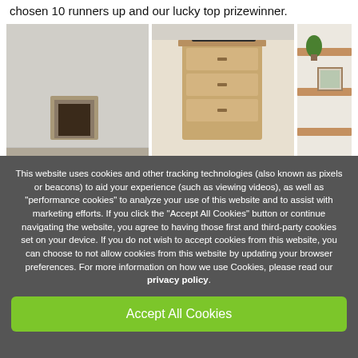chosen 10 runners up and our lucky top prizewinner.
[Figure (photo): Three side-by-side interior room photos: left shows a room with a fireplace and plain walls, center shows a wooden chest of drawers, right shows wooden shelves with a plant and framed picture.]
This website uses cookies and other tracking technologies (also known as pixels or beacons) to aid your experience (such as viewing videos), as well as "performance cookies" to analyze your use of this website and to assist with marketing efforts. If you click the "Accept All Cookies" button or continue navigating the website, you agree to having those first and third-party cookies set on your device. If you do not wish to accept cookies from this website, you can choose to not allow cookies from this website by updating your browser preferences. For more information on how we use Cookies, please read our privacy policy.
Accept All Cookies